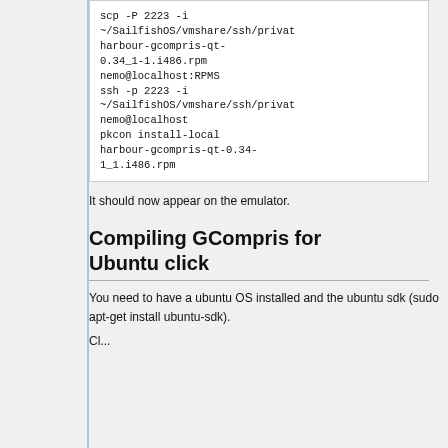[Figure (screenshot): Code block showing scp and ssh commands with pkcon install-local for harbour-gcompris-qt rpm on SailfishOS emulator]
It should now appear on the emulator.
Compiling GCompris for Ubuntu click
You need to have a ubuntu OS installed and the ubuntu sdk (sudo apt-get install ubuntu-sdk).
Cl...